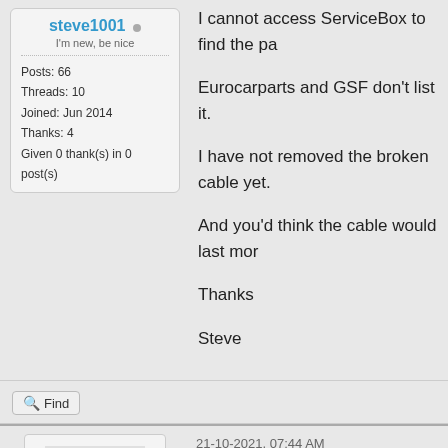steve1001 (online indicator)
I'm new, be nice
Posts: 66
Threads: 10
Joined: Jun 2014
Thanks: 4
Given 0 thank(s) in 0 post(s)
I cannot access ServiceBox to find the pa…
Eurocarparts and GSF don't list it.
I have not removed the broken cable yet.
And you'd think the cable would last mor…
Thanks
Steve
Find
21-10-2021, 07:44 AM
[Figure (illustration): Default user avatar silhouette - grey person outline on light background]
Mighty306 (online indicator)
Moderator
Hi Steve. I have a static copy of Serviceb… bothered to dig it out to look stuff up but a…
There are quite a few available on eBay … aftermarket parts listed are true analogue…
There is a website here where you can…